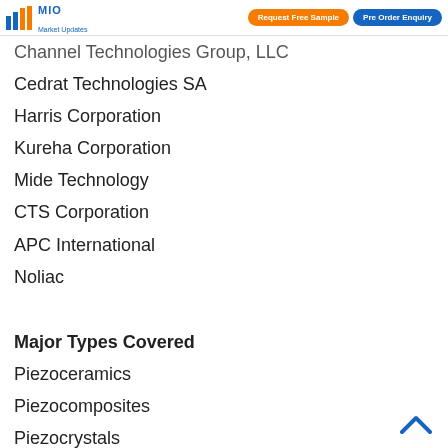MIO Market Updates | Request Free Sample | Pre Order Enquiry
Channel Technologies Group, LLC
Cedrat Technologies SA
Harris Corporation
Kureha Corporation
Mide Technology
CTS Corporation
APC International
Noliac
Major Types Covered
Piezoceramics
Piezocomposites
Piezocrystals
Piezopolymers